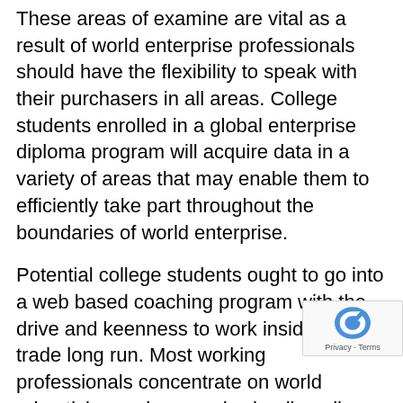These areas of examine are vital as a result of world enterprise professionals should have the flexibility to speak with their purchasers in all areas. College students enrolled in a global enterprise diploma program will acquire data in a variety of areas that may enable them to efficiently take part throughout the boundaries of world enterprise.
Potential college students ought to go into a web based coaching program with the drive and keenness to work inside this trade long run. Most working professionals concentrate on world advertising and proceed schooling all through their careers. Continued schooling is crucial to remain present with social and political components in several international locations in addition to enterprise practices that change and evolve over time. On-line coaching to acquire a level and coaching to remain present is rigorous due to the broad quantity of data wanted by a worldwide enterprise skilled.Begin your coaching at this time and be part of a quick rising subject of world enterprise. Get hold of an accredited diploma program on-line that may assist you to